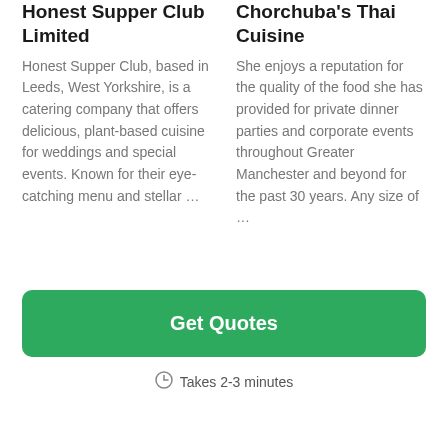Honest Supper Club Limited
Honest Supper Club, based in Leeds, West Yorkshire, is a catering company that offers delicious, plant-based cuisine for weddings and special events. Known for their eye-catching menu and stellar …
Chorchuba's Thai Cuisine
She enjoys a reputation for the quality of the food she has provided for private dinner parties and corporate events throughout Greater Manchester and beyond for the past 30 years. Any size of …
Get Quotes
Takes 2-3 minutes